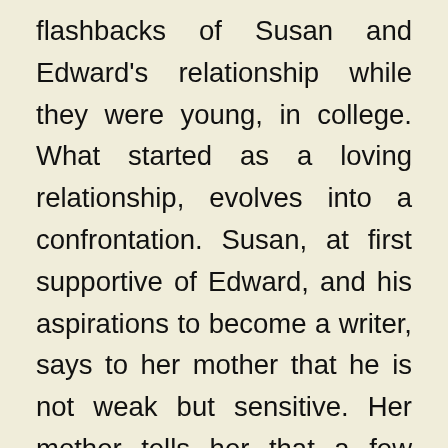flashbacks of Susan and Edward's relationship while they were young, in college. What started as a loving relationship, evolves into a confrontation. Susan, at first supportive of Edward, and his aspirations to become a writer, says to her mother that he is not weak but sensitive. Her mother tells her that a few years later those 'burgeoisie' things she claims to despise will matter to her a lot, and Edward will not be able to provide for them, since he has no money. In the end, she claims to him that she is 'pragmatic', a 'realist' and needs a more structured life. She reprimands Edward for working in a bookstore and aiming to become a writer, but lacking the qualities of one. The motif of her becoming more like her mother as the time passes comes to realization, and she brutally leaves